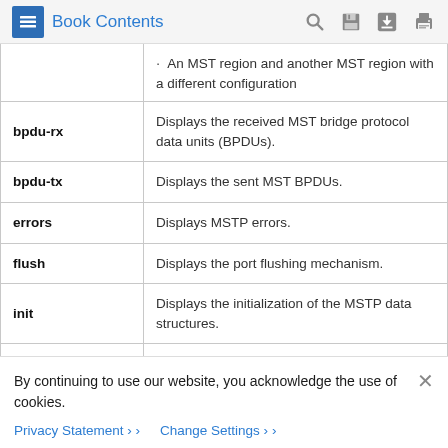Book Contents
| Term | Description |
| --- | --- |
|  | · An MST region and another MST region with a different configuration |
| bpdu-rx | Displays the received MST bridge protocol data units (BPDUs). |
| bpdu-tx | Displays the sent MST BPDUs. |
| errors | Displays MSTP errors. |
| flush | Displays the port flushing mechanism. |
| init | Displays the initialization of the MSTP data structures. |
| migration | Debug the protocol migration state machine. |
By continuing to use our website, you acknowledge the use of cookies.
Privacy Statement > Change Settings >